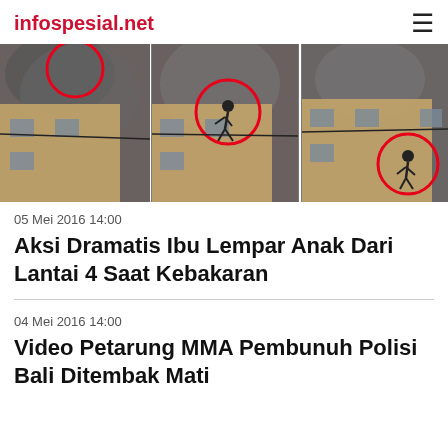infospesial.net
[Figure (photo): Three sequential frames from a video showing a building on fire with smoke, a person visible being thrown from a high floor window, with red circles highlighting the person in each frame]
05 Mei 2016 14:00
Aksi Dramatis Ibu Lempar Anak Dari Lantai 4 Saat Kebakaran
04 Mei 2016 14:00
Video Petarung MMA Pembunuh Polisi Bali Ditembak Mati